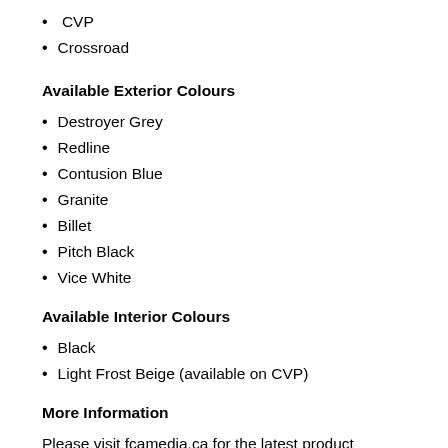CVP
Crossroad
Available Exterior Colours
Destroyer Grey
Redline
Contusion Blue
Granite
Billet
Pitch Black
Vice White
Available Interior Colours
Black
Light Frost Beige (available on CVP)
More Information
Please visit fcamedia.ca for the latest product information, photography